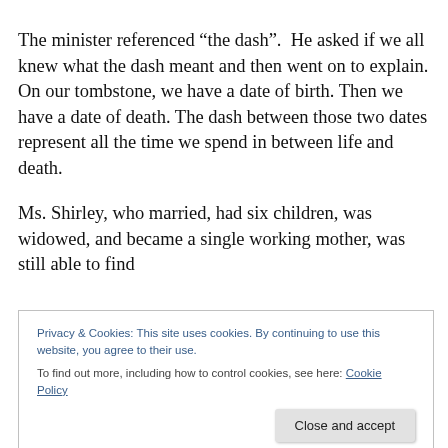The minister referenced “the dash”. He asked if we all knew what the dash meant and then went on to explain. On our tombstone, we have a date of birth. Then we have a date of death. The dash between those two dates represent all the time we spend in between life and death.
Ms. Shirley, who married, had six children, was widowed, and became a single working mother, was still able to find
Privacy & Cookies: This site uses cookies. By continuing to use this website, you agree to their use.
To find out more, including how to control cookies, see here: Cookie Policy
Close and accept
could be appropriate that. Although she had to accommodate that